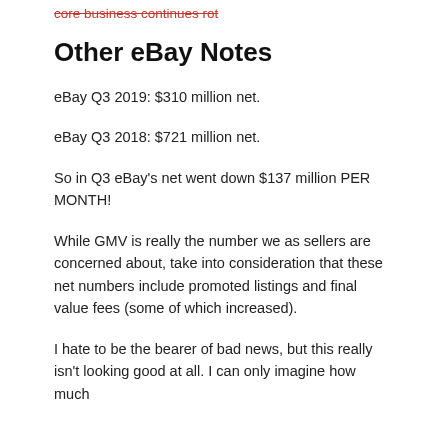core business continues rot
Other eBay Notes
eBay Q3 2019: $310 million net.
eBay Q3 2018: $721 million net.
So in Q3 eBay's net went down $137 million PER MONTH!
While GMV is really the number we as sellers are concerned about, take into consideration that these net numbers include promoted listings and final value fees (some of which increased).
I hate to be the bearer of bad news, but this really isn't looking good at all. I can only imagine how much